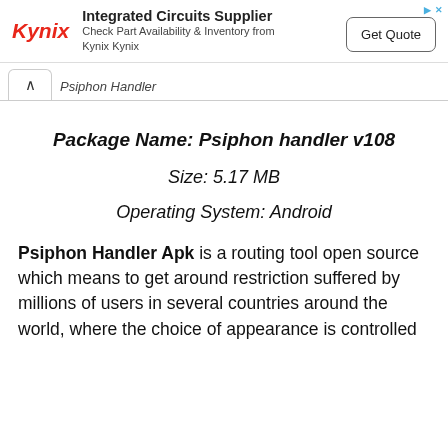[Figure (screenshot): Kynix advertisement banner: Kynix logo in red italic, text 'Integrated Circuits Supplier' with subtext 'Check Part Availability & Inventory from Kynix Kynix', and a 'Get Quote' button on the right.]
Psiphon Handler
Package Name: Psiphon handler v108
Size: 5.17 MB
Operating System: Android
Psiphon Handler Apk is a routing tool open source which means to get around restriction suffered by millions of users in several countries around the world, where the choice of appearance is controlled